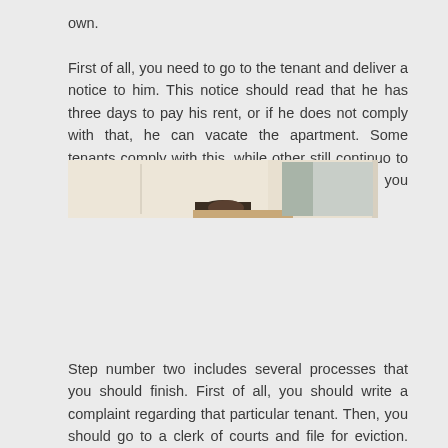own. First of all, you need to go to the tenant and deliver a notice to him. This notice should read that he has three days to pay his rent, or if he does not comply with that, he can vacate the apartment. Some tenants comply with this, while other still continuo to cause problems to landlords. If that happens, you should continue with the step number two.
[Figure (photo): A photo showing a person lying down, with muted beige and tan tones, partially visible head/hair.]
Step number two includes several processes that you should finish. First of all, you should write a complaint regarding that particular tenant. Then, you should go to a clerk of courts and file for eviction. The clerk will provide you with the case